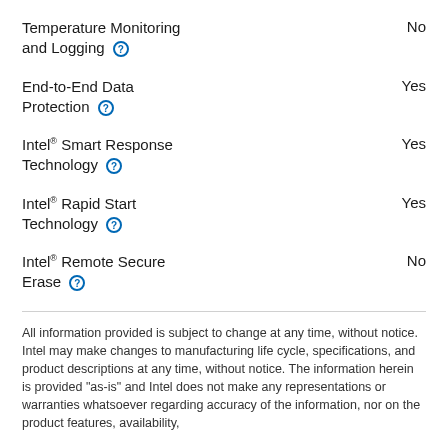Temperature Monitoring and Logging  No
End-to-End Data Protection  Yes
Intel® Smart Response Technology  Yes
Intel® Rapid Start Technology  Yes
Intel® Remote Secure Erase  No
All information provided is subject to change at any time, without notice. Intel may make changes to manufacturing life cycle, specifications, and product descriptions at any time, without notice. The information herein is provided "as-is" and Intel does not make any representations or warranties whatsoever regarding accuracy of the information, nor on the product features, availability,